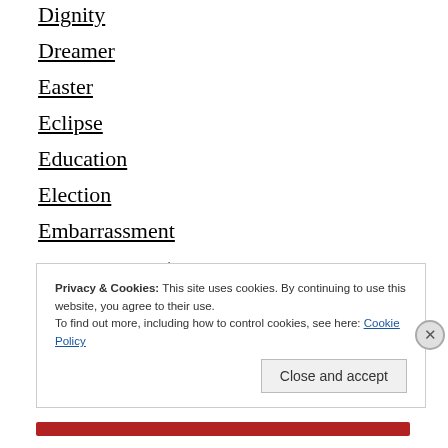Dignity
Dreamer
Easter
Eclipse
Education
Election
Embarrassment
encouragement
ernity
eternity
faith
Privacy & Cookies: This site uses cookies. By continuing to use this website, you agree to their use.
To find out more, including how to control cookies, see here: Cookie Policy
Close and accept